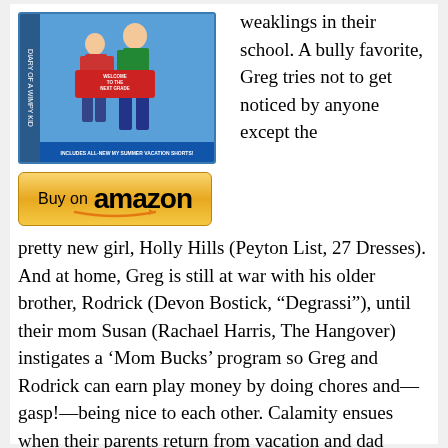[Figure (photo): DVD/Blu-ray cover of Diary of a Wimpy Kid: Rodrick Rules with two characters standing, blue background with 'INCLUDES ALL-NEW MY SUMMER VACATION SHORTS!' banner]
[Figure (other): Buy on Amazon button with golden/yellow background and Amazon logo with orange arrow]
weaklings in their school. A bully favorite, Greg tries not to get noticed by anyone except the pretty new girl, Holly Hills (Peyton List, 27 Dresses). And at home, Greg is still at war with his older brother, Rodrick (Devon Bostick, “Degrassi”), until their mom Susan (Rachael Harris, The Hangover) instigates a ‘Mom Bucks’ program so Greg and Rodrick can earn play money by doing chores and—gasp!—being nice to each other. Calamity ensues when their parents return from vacation and dad Frank (Steve Zahn, A Perfect Getaway) finds evidence that Rodrick secretly threw a houseparty with his band, Löded Diper. As they struggle with school and compete for ‘Mom Bucks,’ the brothers discover that avoiding trouble is easier if they unite—and their once-twisted partnership grows into a